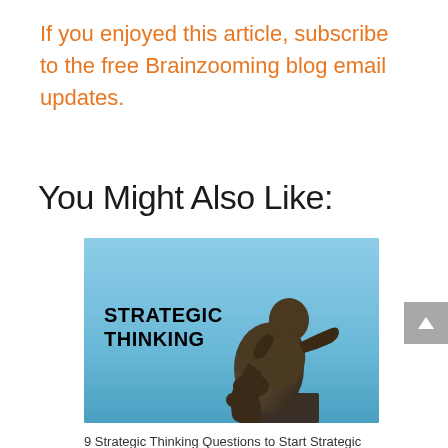If you enjoyed this article, subscribe to the free Brainzooming blog email updates.
You Might Also Like:
[Figure (photo): Photo of Rodin's The Thinker statue against a blue sky with 'STRATEGIC THINKING' text overlay]
9 Strategic Thinking Questions to Start Strategic Conversations